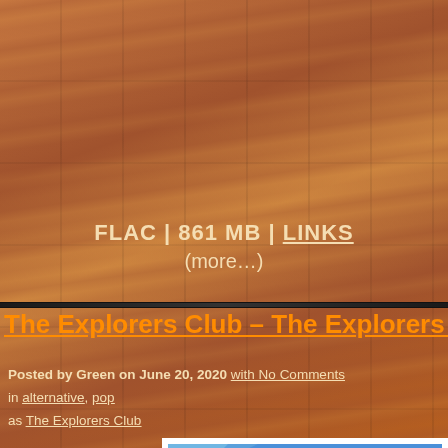[Figure (illustration): Wood-grain brown background texture covering entire page]
FLAC | 861 MB | LINKS
(more…)
The Explorers Club – The Explorers Club
Posted by Green on June 20, 2020 with No Comments
in alternative, pop
as The Explorers Club
[Figure (illustration): Colorful folk-art style illustration of a sunflower with orange center, yellow-green petals, and blue sky background, shown partially at bottom of page]